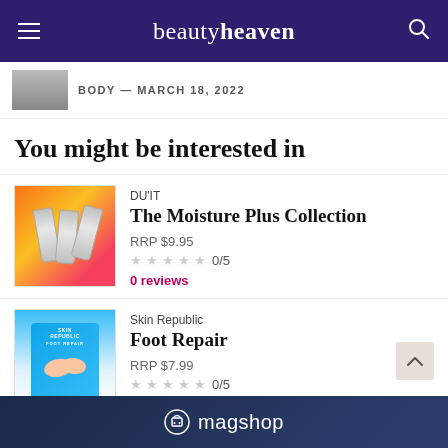beautyheaven
BODY — MARCH 18, 2022
You might be interested in
DU'IT
The Moisture Plus Collection
RRP $9.95
★ ★ ★ ★ ★ 0/5
0 reviews
Skin Republic
Foot Repair
RRP $7.99
★ ★ ★ ★ ★ 0/5
0 reviews
[Figure (logo): magshop logo banner at bottom]
magshop